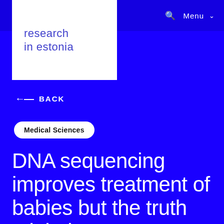🔍 Menu ∨
[Figure (logo): research in estonia logo — white box with blue text]
← BACK
Medical Sciences
DNA sequencing improves treatment of babies but the truth might be uncomfortable